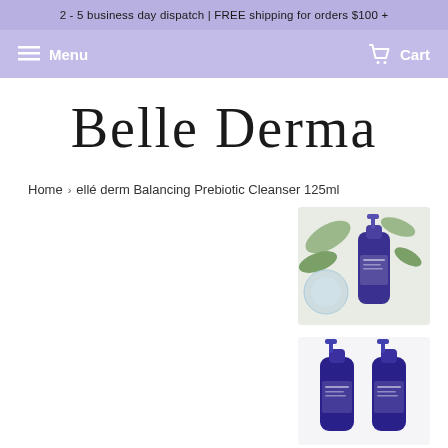2 - 5 business day dispatch | FREE shipping for orders $100 +
Menu  Cart
[Figure (logo): Belle Derma logo in cursive script]
Home › ellé derm Balancing Prebiotic Cleanser 125ml
[Figure (photo): Ellé derm Balancing Prebiotic Cleanser 125ml product photo with purple bottle and green leaves]
[Figure (photo): Two purple pump bottles of ellé derm Balancing Prebiotic Cleanser 125ml]